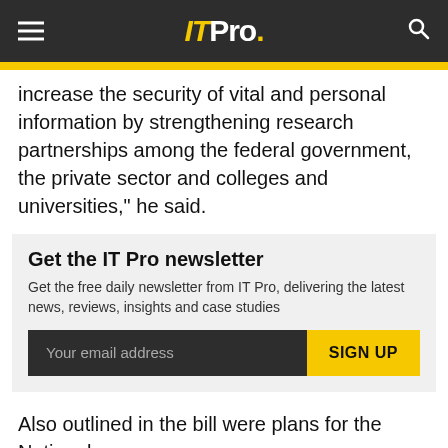IT Pro.
increase the security of vital and personal information by strengthening research partnerships among the federal government, the private sector and colleges and universities," he said.
Get the IT Pro newsletter
Get the free daily newsletter from IT Pro, delivering the latest news, reviews, insights and case studies
Your email address  SIGN UP
Also outlined in the bill were plans for the National